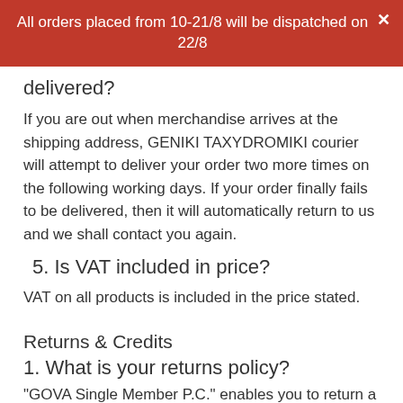All orders placed from 10-21/8 will be dispatched on 22/8
delivered?
If you are out when merchandise arrives at the shipping address, GENIKI TAXYDROMIKI courier will attempt to deliver your order two more times on the following working days. If your order finally fails to be delivered, then it will automatically return to us and we shall contact you again.
5. Is VAT included in price?
VAT on all products is included in the price stated.
Returns & Credits
1. What is your returns policy?
"GOVA Single Member P.C." enables you to return a